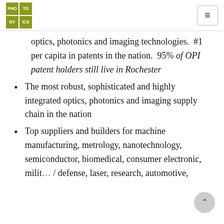PHO TO NY ICS [logo] [hamburger menu]
optics, photonics and imaging technologies.  #1 per capita in patents in the nation.  95% of OPI patent holders still live in Rochester
The most robust, sophisticated and highly integrated optics, photonics and imaging supply chain in the nation
Top suppliers and builders for machine manufacturing, metrology, nanotechnology, semiconductor, biomedical, consumer electronic, milit… / defense, laser, research, automotive,